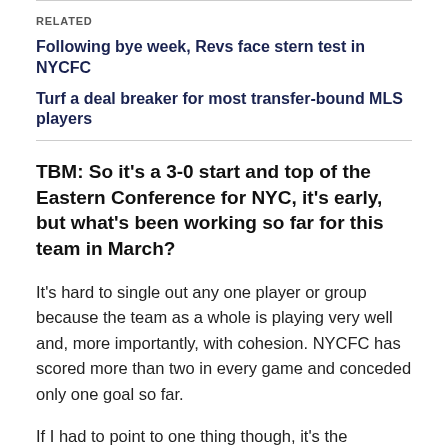RELATED
Following bye week, Revs face stern test in NYCFC
Turf a deal breaker for most transfer-bound MLS players
TBM: So it’s a 3-0 start and top of the Eastern Conference for NYC, it’s early, but what’s been working so far for this team in March?
It’s hard to single out any one player or group because the team as a whole is playing very well and, more importantly, with cohesion. NYCFC has scored more than two in every game and conceded only one goal so far.
If I had to point to one thing though, it’s the midfield.